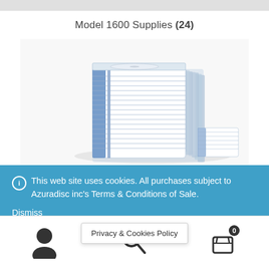Model 1600 Supplies (24)
[Figure (photo): Stack of disc/CD cases with blue tinted packaging, stacked in a pile]
This web site uses cookies. All purchases subject to Azuradisc inc's Terms & Conditions of Sale.
Dismiss
Privacy & Cookies Policy